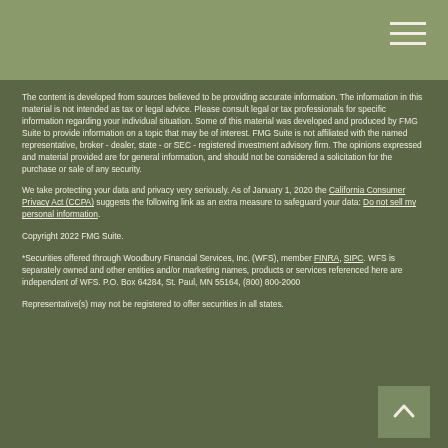The content is developed from sources believed to be providing accurate information. The information in this material is not intended as tax or legal advice. Please consult legal or tax professionals for specific information regarding your individual situation. Some of this material was developed and produced by FMG Suite to provide information on a topic that may be of interest. FMG Suite is not affiliated with the named representative, broker - dealer, state - or SEC - registered investment advisory firm. The opinions expressed and material provided are for general information, and should not be considered a solicitation for the purchase or sale of any security.
We take protecting your data and privacy very seriously. As of January 1, 2020 the California Consumer Privacy Act (CCPA) suggests the following link as an extra measure to safeguard your data: Do not sell my personal information.
Copyright 2022 FMG Suite.
*Securities offered through Woodbury Financial Services, Inc. (WFS), member FINRA, SIPC. WFS is separately owned and other entities and/or marketing names, products or services referenced here are independent of WFS. P.O. Box 64284, St. Paul, MN 55164, (800) 800-2000
Representative(s) may not be registered to offer securities in all states.